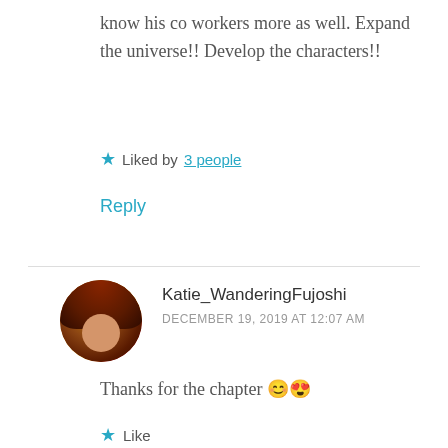know his co workers more as well. Expand the universe!! Develop the characters!!
★ Liked by 3 people
Reply
Katie_WanderingFujoshi
DECEMBER 19, 2019 AT 12:07 AM
Thanks for the chapter 😊😍
★ Like
Reply